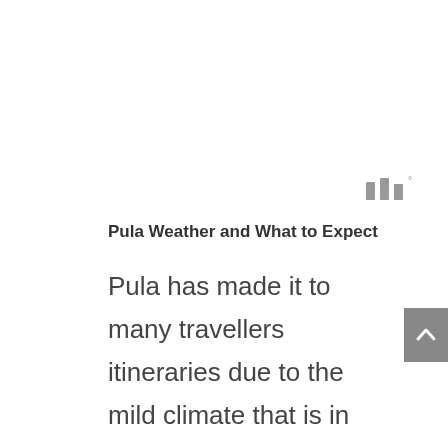[Figure (other): Weather icon showing three vertical bars with a degree symbol, representing a weather/temperature indicator]
Pula Weather and What to Expect
Pula has made it to many travellers itineraries due to the mild climate that is in Istria county year round. The warmest months are from June to September, with temperatures typically being above 20 degrees